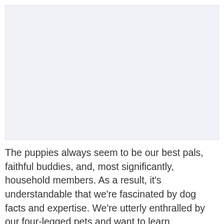[Figure (photo): Placeholder image area with light blue-gray background, likely containing a photo of puppies or dogs]
The puppies always seem to be our best pals, faithful buddies, and, most significantly, household members. As a result, it's understandable that we're fascinated by dog facts and expertise. We're utterly enthralled by our four-legged pets and want to learn